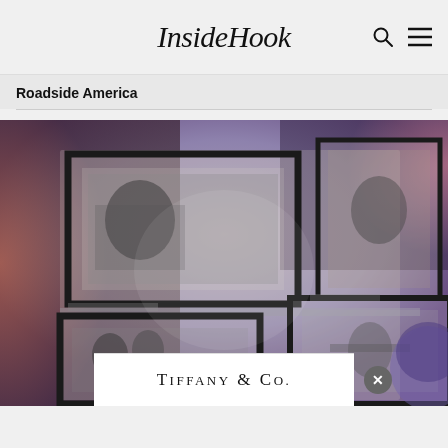InsideHook
Roadside America
[Figure (photo): Gallery wall with multiple framed black-and-white photographs displayed in a dark lit room with purple/orange ambient lighting. Six frames visible showing portraits and action shots.]
[Figure (logo): Tiffany & Co. advertisement overlay at the bottom of the photo with a close button (X) on the right side.]